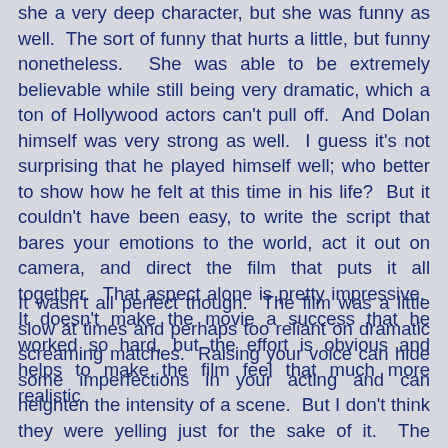she a very deep character, but she was funny as well. The sort of funny that hurts a little, but funny nonetheless. She was able to be extremely believable while still being very dramatic, which a ton of Hollywood actors can't pull off. And Dolan himself was very strong as well. I guess it's not surprising that he played himself well; who better to show how he felt at this time in his life? But it couldn't have been easy, to write the script that bares your emotions to the world, act it out on camera, and direct the film that puts it all together. That aspect alone is pretty impressive. It doesn't make the movie a success that he worked so hard, but the effort is obvious and helps to make the film feel that much more realistic.
It wasn't all perfect though. The film was a little slow at times and perhaps too reliant on dramatic screaming matches. Raising your voice can hide some imperfections in your acting and can heighten the intensity of a scene. But I don't think they were yelling just for the sake of it. The arguments were necessary to the story, but they did get a little too numerous. Also, the hand-held camera scenes were a little forced, and the dream sequences were a little silly. I didn't